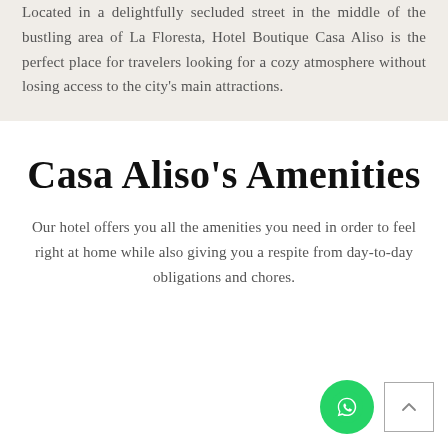Located in a delightfully secluded street in the middle of the bustling area of La Floresta, Hotel Boutique Casa Aliso is the perfect place for travelers looking for a cozy atmosphere without losing access to the city's main attractions.
Casa Aliso's Amenities
Our hotel offers you all the amenities you need in order to feel right at home while also giving you a respite from day-to-day obligations and chores.